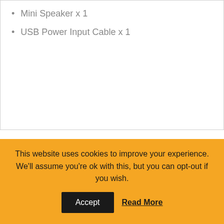Mini Speaker x 1
USB Power Input Cable x 1
□□□□
This website uses cookies to improve your experience. We'll assume you're ok with this, but you can opt-out if you wish.
Accept   Read More